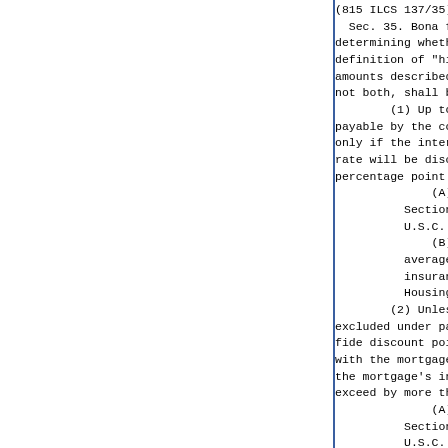(815 ILCS 137/35)
    Sec. 35. Bona fide discount points. In
determining whether the amount financed under a
definition of "high risk home loan", one or both of th
amounts described in paragraph (0.05) of Section
not both, shall be excluded:
        (1) Up to and including 2 bona fide discount p
payable by the consumer in connection with the mortga
only if the interest rate from which the mortgage
rate will be discounted does not exceed by more than 1
percentage point:
                (A) the average prime offer rate, as de
            Section 129C of the federal Truth in Len
            U.S.C. 1639); or
                (B) if secured by a personal property l
            average rate on a loan in connection wit
            insurance is provided under Title I of t
            Housing Act (12 U.S.C. 1703).
        (2) Unless 2 bona fide discount points are
excluded under paragraph (1) above, 1 additional bona
fide discount point payable by the consumer in connect
with the mortgage, but only if the resulting
the mortgage's interest rate does not
exceed by more than 2 percentage points:
                (A) the average prime offer rate, as de
            Section 129C of the federal Truth in Len
            U.S.C. 1639); or
                (B) if secured by a personal property l
            average rate on a loan